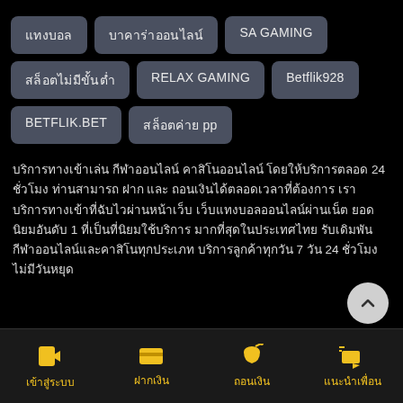แทงบอล
บาคาร่าออนไลน์
SA GAMING
สล็อตไม่มีขั้นต่ำ
RELAX GAMING
Betflik928
BETFLIK.BET
สล็อตค่าย pp
บริการทางเข้าเล่น กีฬาออนไลน์ คาสิโนออนไลน์ โดยให้บริการตลอด 24 ชั่วโมง ท่านสามารถ ฝาก และ ถอนเงินได้ตลอดเวลาที่ต้องการ เราบริการทางเข้าที่ฉับไวผ่านหน้าเว็บ เว็บแทงบอลออนไลน์ผ่านเน็ต ยอดนิยมอันดับ 1 ที่เป็นที่นิยมใช้บริการ มากที่สุดในประเทศไทย รับเดิมพันกีฬาออนไลน์และคาสิโนทุกประเภท บริการลูกค้าทุกวัน 7 วัน 24 ชั่วโมง ไม่มีวันหยุด
เข้าสู่ระบบ | ฝากเงิน | ถอนเงิน | แนะนำเพื่อน